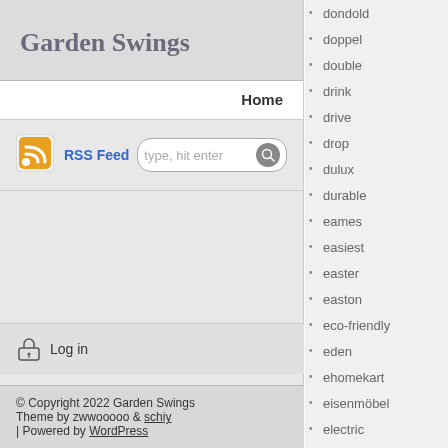Garden Swings
Home
[Figure (other): RSS feed icon (orange Wi-Fi style icon)]
RSS Feed  type, hit enter
Log in
© Copyright 2022 Garden Swings Theme by zwwooooo & schiy | Powered by WordPress
dondold
doppel
double
drink
drive
drop
dulux
durable
eames
easiest
easter
easton
eco-friendly
eden
ehomekart
eisenmöbel
electric
elegant
eliani
eliteshield
elliot